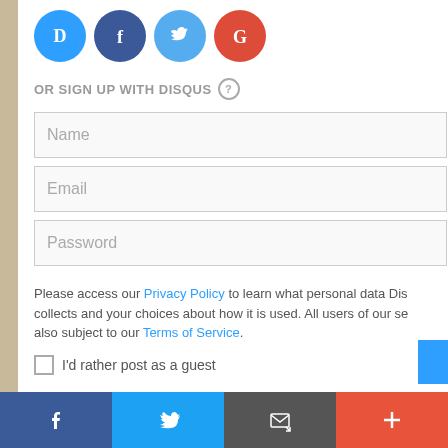[Figure (illustration): Four social login circular icons: Disqus (blue), Facebook (dark blue), Twitter (light blue), Google (red)]
OR SIGN UP WITH DISQUS ?
[Figure (screenshot): Name input field (empty, placeholder text 'Name')]
[Figure (screenshot): Email input field (empty, placeholder text 'Email')]
[Figure (screenshot): Password input field (empty, placeholder text 'Password')]
Please access our Privacy Policy to learn what personal data Dis collects and your choices about how it is used. All users of our se also subject to our Terms of Service.
I'd rather post as a guest
[Figure (illustration): Bottom social share toolbar with Facebook, Twitter, Email, and More (+) buttons]